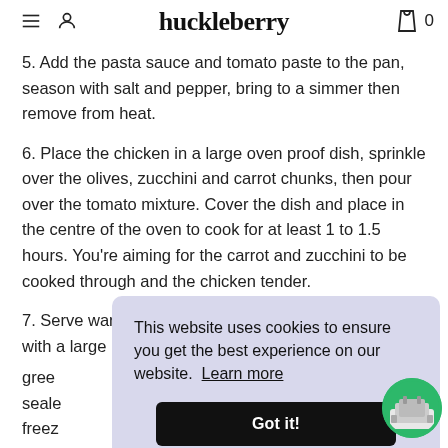huckleberry
5. Add the pasta sauce and tomato paste to the pan, season with salt and pepper, bring to a simmer then remove from heat.
6. Place the chicken in a large oven proof dish, sprinkle over the olives, zucchini and carrot chunks, then pour over the tomato mixture. Cover the dish and place in the centre of the oven to cook for at least 1 to 1.5 hours. You're aiming for the carrot and zucchini to be cooked through and the chicken tender.
7. Serve warm on top of pasta, rice, mashes potatoes, with a large green [salad on the side. Leftovers store well in a] sealed [container in the fridge or you can] freeze [them].
SHARE
This website uses cookies to ensure you get the best experience on our website.  Learn more
Got it!